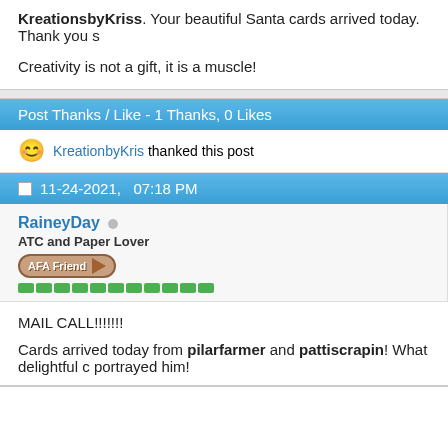KreationsbyKriss. Your beautiful Santa cards arrived today. Thank you s
Creativity is not a gift, it is a muscle!
Post Thanks / Like - 1 Thanks, 0 Likes
KreationbyKris thanked this post
11-24-2021,   07:18 PM
RaineyDay
ATC and Paper Lover
MAIL CALL!!!!!!!
Cards arrived today from pilarfarmer and pattiscrapin! What delightful c portrayed him!